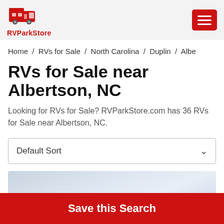RVParkStore
Home / RVs for Sale / North Carolina / Duplin / Albe
RVs for Sale near Albertson, NC
Looking for RVs for Sale? RVParkStore.com has 36 RVs for Sale near Albertson, NC.
Default Sort
[Figure (photo): Partial listing image with cloudy sky background]
Save this Search